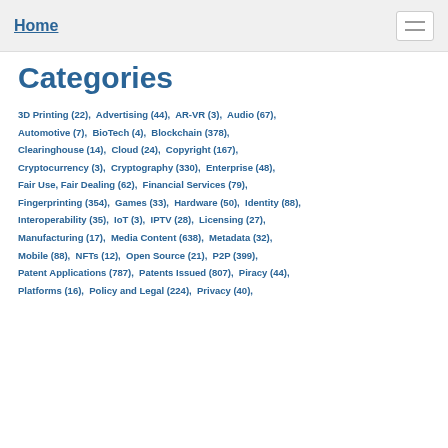Home
Categories
3D Printing (22),  Advertising (44),  AR-VR (3),  Audio (67),  Automotive (7),  BioTech (4),  Blockchain (378),  Clearinghouse (14),  Cloud (24),  Copyright (167),  Cryptocurrency (3),  Cryptography (330),  Enterprise (48),  Fair Use, Fair Dealing (62),  Financial Services (79),  Fingerprinting (354),  Games (33),  Hardware (50),  Identity (88),  Interoperability (35),  IoT (3),  IPTV (28),  Licensing (27),  Manufacturing (17),  Media Content (638),  Metadata (32),  Mobile (88),  NFTs (12),  Open Source (21),  P2P (399),  Patent Applications (787),  Patents Issued (807),  Piracy (44),  Platforms (16),  Policy and Legal (224),  Privacy (40),